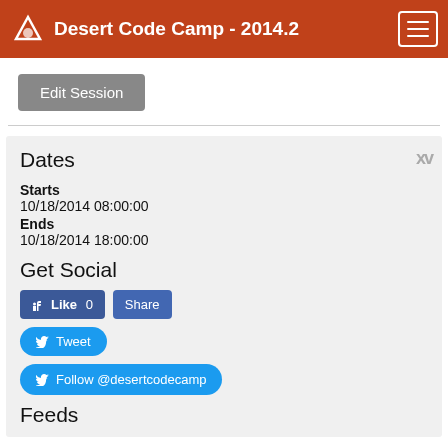Desert Code Camp - 2014.2
Edit Session
Dates
Starts
10/18/2014 08:00:00
Ends
10/18/2014 18:00:00
Get Social
Like 0  Share
Tweet
Follow @desertcodecamp
Feeds